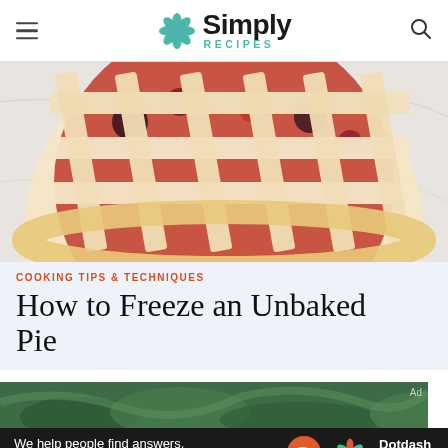Simply Recipes
[Figure (photo): Top-down view of an unbaked pie with lattice crust on a marble surface, showing red berry filling through the crust openings]
COOKING TIPS & TECHNIQUES
How to Freeze an Unbaked Pie
[Figure (photo): Partial view of a green plant/herb, cropped at bottom of page]
We help people find answers, solve problems and get inspired.
Dotdash meredith